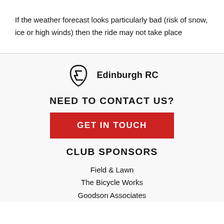If the weather forecast looks particularly bad (risk of snow, ice or high winds) then the ride may not take place
[Figure (logo): Edinburgh RC logo with stylized shield/leaf icon and bold text 'Edinburgh RC']
NEED TO CONTACT US?
GET IN TOUCH
CLUB SPONSORS
Field & Lawn
The Bicycle Works
Goodson Associates